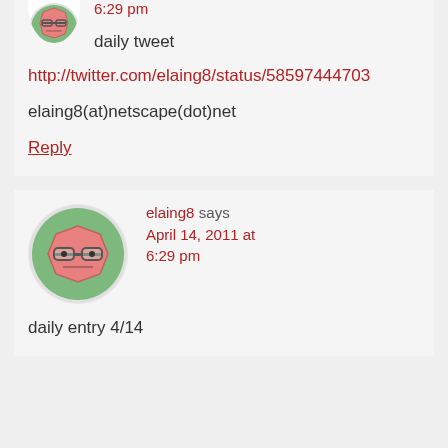[Figure (illustration): Avatar of elaing8 - cartoon face with glasses, octagonal shape, pink/salmon color with green circular border, partially cropped at top]
6:29 pm
daily tweet
http://twitter.com/elaing8/status/58597444703
elaing8(at)netscape(dot)net
Reply
[Figure (illustration): Avatar of elaing8 - cartoon face with glasses, octagonal shape, pink/salmon color with green circular border, full size]
elaing8 says April 14, 2011 at 6:29 pm
daily entry 4/14